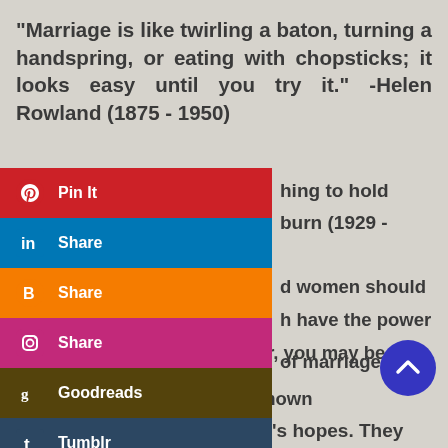“Marriage is like twirling a baton, turning a handspring, or eating with chopsticks; it looks easy until you try it.” -Helen Rowland (1875 - 1950)
“...hing to hold onto in life is each other.” -...burn (1929 - 1993)
“...d women should freely use those seven ...h have the power to make any marriage run smoothly: You know dear, you may be right.” -...r Unknown
“...of marriage is not to think alike, but to think together.” -Author Unknown
“They are kind to each other’s hopes. They cherish
[Figure (screenshot): Social share buttons overlay: Pinterest Pin It (red), LinkedIn Share (blue), Blogger Share (orange), Instagram Share (pink), Goodreads (dark brown), Tumblr (navy), More (gray)]
[Figure (other): Scroll-to-top button: blue circle with white upward chevron arrow]